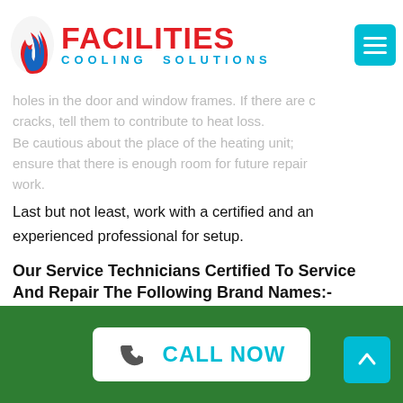Facilities Cooling Solutions
holes in the door and window frames. If there are cracks, tell them to contribute to heat loss. Be cautious about the place of the heating unit; ensure that there is enough room for future repair work.
Last but not least, work with a certified and an experienced professional for setup.
Our Service Technicians Certified To Service And Repair The Following Brand Names:-
Daikin Heating System Servicing, Repair & Installation In Moreland
Bosch Heating System Servicing, Repair & Installation In Moreland
Mitsubishi Heating System Servicing, Repair & Installation In Moreland
CALL NOW